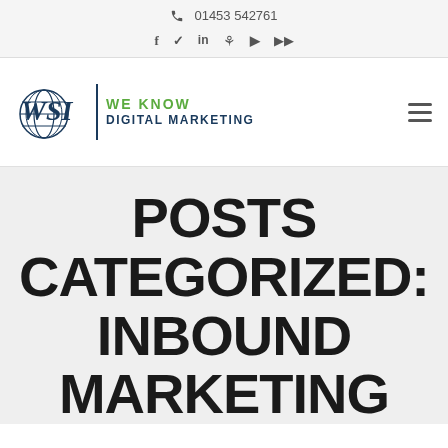📞 01453 542761
f  t  in  p  rss  yt
[Figure (logo): WSI We Know Digital Marketing logo with globe icon]
POSTS CATEGORIZED: INBOUND MARKETING